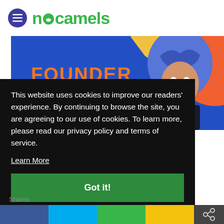nocamels
[Figure (illustration): Founder Stories illustration: cartoon woman with blue afro hair, orange and blue background, text 'FOUNDER STORIES' in orange on blue panel]
This website uses cookies to improve our readers' experience. By continuing to browse the site, you are agreeing to our use of cookies. To learn more, please read our privacy policy and terms of service.
Learn More
Got it!
Shares